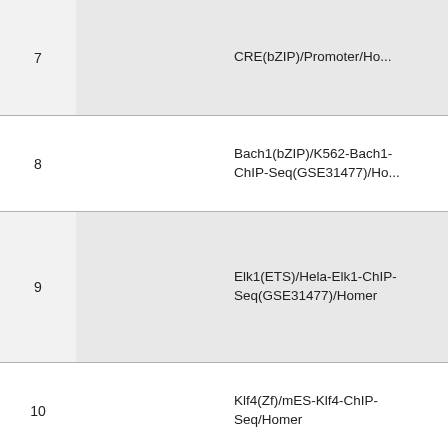| # |  | Name |
| --- | --- | --- |
| 7 |  | CRE(bZIP)/Promoter/Ho... |
| 8 |  | Bach1(bZIP)/K562-Bach1-ChIP-Seq(GSE31477)/Ho... |
| 9 |  | Elk1(ETS)/Hela-Elk1-ChIP-Seq(GSE31477)/Homer |
| 10 |  | Klf4(Zf)/mES-Klf4-ChIP-Seq/Homer |
| 11 |  | MafA(bZIP)/Islet-MafA-ChIP-Seq(GSE30298)/Homer |
| 12 |  | Sp1(Zf)/Promoter/Homer |